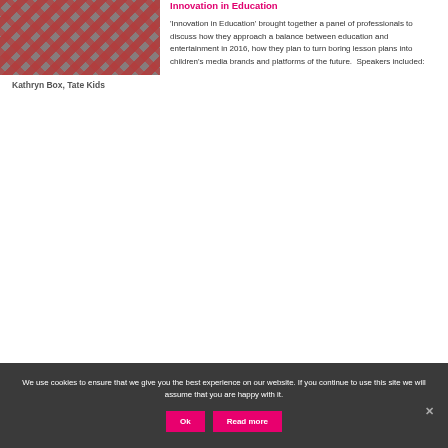[Figure (photo): Photo of Kathryn Box with decorative patterned background in red and teal]
Kathryn Box, Tate Kids
Innovation in Education
'Innovation in Education' brought together a panel of professionals to discuss how they approach a balance between education and entertainment in 2016, how they plan to turn boring lesson plans into children's media brands and platforms of the future.  Speakers included:
We use cookies to ensure that we give you the best experience on our website. If you continue to use this site we will assume that you are happy with it.